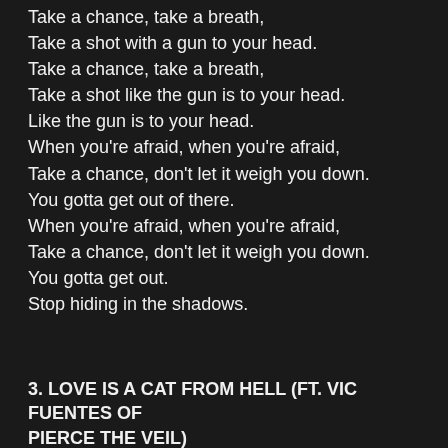Take a chance, take a breath,
Take a shot with a gun to your head.
Take a chance, take a breath,
Take a shot like the gun is to your head.
Like the gun is to your head.
When you're afraid, when you're afraid,
Take a chance, don't let it weigh you down.
You gotta get out of there.
When you're afraid, when you're afraid,
Take a chance, don't let it weigh you down.
You gotta get out.
Stop hiding in the shadows.
3. LOVE IS A CAT FROM HELL (FT. VIC FUENTES OF PIERCE THE VEIL)